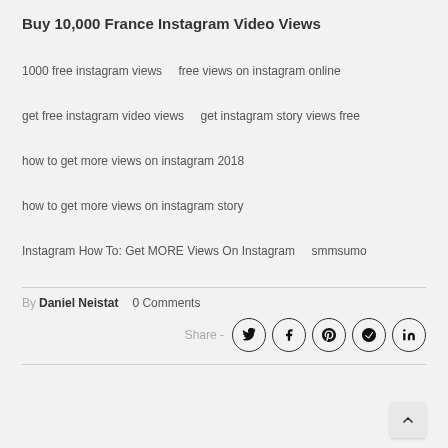Buy 10,000 France Instagram Video Views
1000 free instagram views
free views on instagram online
get free instagram video views
get instagram story views free
how to get more views on instagram 2018
how to get more views on instagram story
Instagram How To: Get MORE Views On Instagram
smmsumo
By Daniel Neistat   0 Comments
Share -